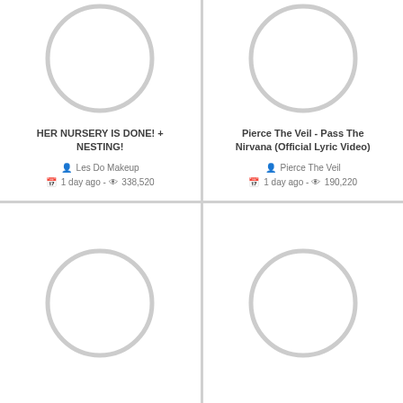[Figure (screenshot): Video thumbnail placeholder with grey circle loading indicator]
HER NURSERY IS DONE! + NESTING!
Les Do Makeup
1 day ago - 338,520
[Figure (screenshot): Video thumbnail placeholder with grey circle loading indicator]
Pierce The Veil - Pass The Nirvana (Official Lyric Video)
Pierce The Veil
1 day ago - 190,220
[Figure (screenshot): Video thumbnail placeholder with grey circle loading indicator]
[Figure (screenshot): Video thumbnail placeholder with grey circle loading indicator]